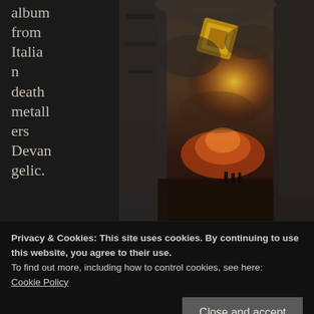album from Italian death metallers Devangelic.
[Figure (illustration): Dark fantasy album cover artwork showing massive stone archway or gate structures with demonic or ancient motifs, glowing golden/orange light in the center background suggesting fire or apocalyptic scene, small human figures visible in the distance against the dramatic sky]
Over the years Devangelic have proven their
Privacy & Cookies: This site uses cookies. By continuing to use this website, you agree to their use.
To find out more, including how to control cookies, see here:
Cookie Policy
Close and accept